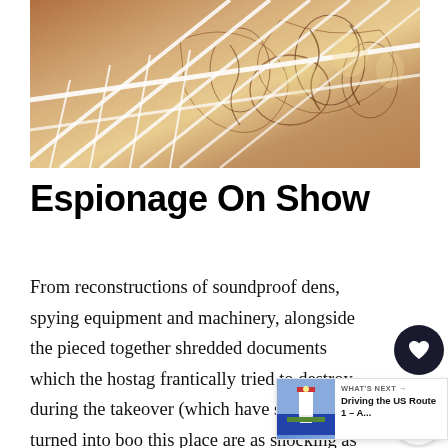[Figure (photo): Aerial/angled view of a staircase with decorative illustrated mural panels featuring intricate figures and scenes in brown and yellow tones, with white metal railings visible]
Espionage On Show
From reconstructions of soundproof dens, spying equipment and machinery, alongside the pieced together shredded documents which the hostage frantically tried to destroy during the takeover (which have since been turned into books), things in this place are as shocking as you imagine.